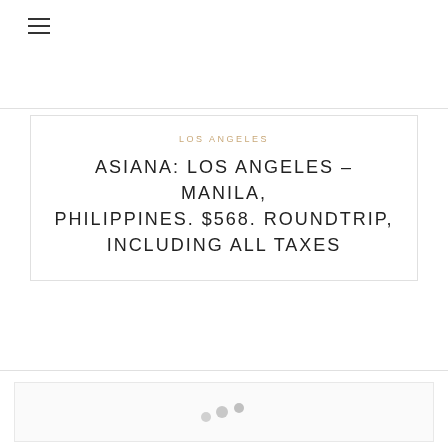ASIANA: LOS ANGELES – MANILA, PHILIPPINES. $568. ROUNDTRIP, INCLUDING ALL TAXES
[Figure (other): Loading placeholder with three dots indicating an image is loading]